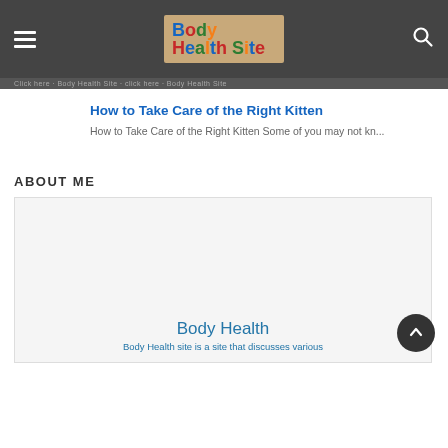Body Health Site
How to Take Care of the Right Kitten
How to Take Care of the Right Kitten Some of you may not kn...
ABOUT ME
[Figure (other): About Me panel with Body Health title and subtitle text]
Body Health
Body Health site is a site that discusses various